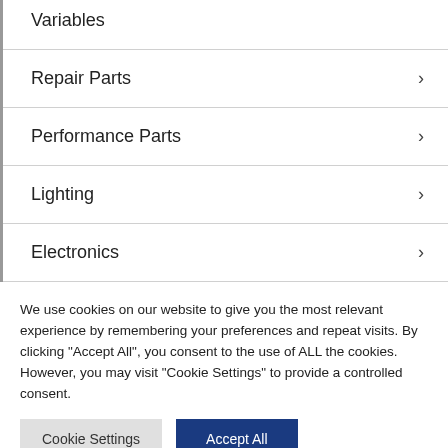Variables
Repair Parts
Performance Parts
Lighting
Electronics
Body Parts
We use cookies on our website to give you the most relevant experience by remembering your preferences and repeat visits. By clicking "Accept All", you consent to the use of ALL the cookies. However, you may visit "Cookie Settings" to provide a controlled consent.